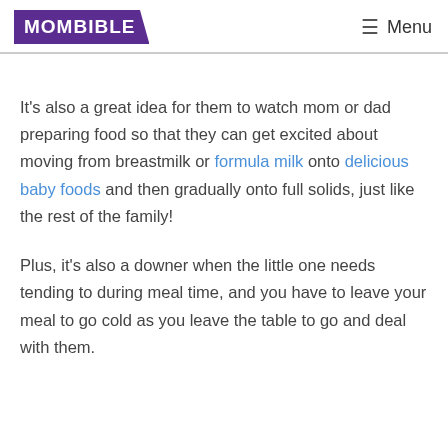MOMBIBLE   ☰ Menu
It's also a great idea for them to watch mom or dad preparing food so that they can get excited about moving from breastmilk or formula milk onto delicious baby foods and then gradually onto full solids, just like the rest of the family!
Plus, it's also a downer when the little one needs tending to during meal time, and you have to leave your meal to go cold as you leave the table to go and deal with them.